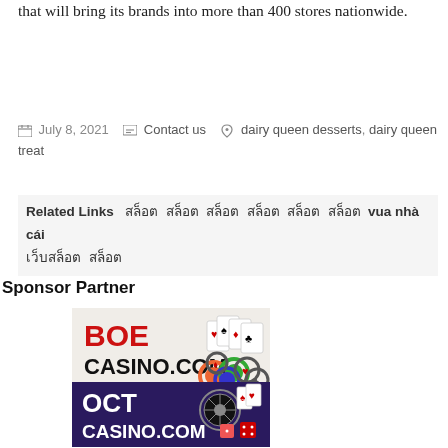that will bring its brands into more than 400 stores nationwide.
July 8, 2021   Contact us   dairy queen desserts, dairy queen treat
Related Links   สล็อต สล็อต สล็อต สล็อต สล็อต สล็อต vua nhà cái เว็บสล็อต สล็อต
Sponsor Partner
[Figure (logo): BOE Casino.com banner with playing cards and casino chips]
[Figure (logo): OCT Casino.com banner with roulette, playing cards and dice]